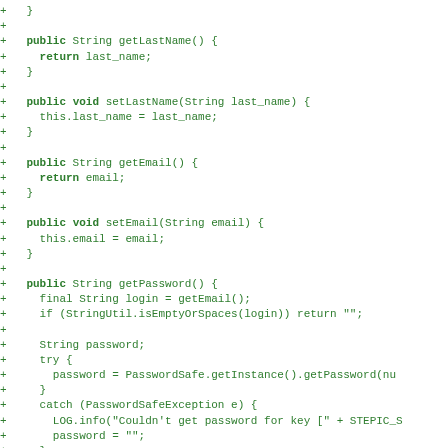+   }
+
+   public String getLastName() {
+     return last_name;
+   }
+
+   public void setLastName(String last_name) {
+     this.last_name = last_name;
+   }
+
+   public String getEmail() {
+     return email;
+   }
+
+   public void setEmail(String email) {
+     this.email = email;
+   }
+
+   public String getPassword() {
+     final String login = getEmail();
+     if (StringUtil.isEmptyOrSpaces(login)) return "";
+
+     String password;
+     try {
+       password = PasswordSafe.getInstance().getPassword(nu
+     }
+     catch (PasswordSafeException e) {
+       LOG.info("Couldn't get password for key [" + STEPIC_S
+       password = "";
+     }
+
+     return StringUtil.notNullize(password);
+   }